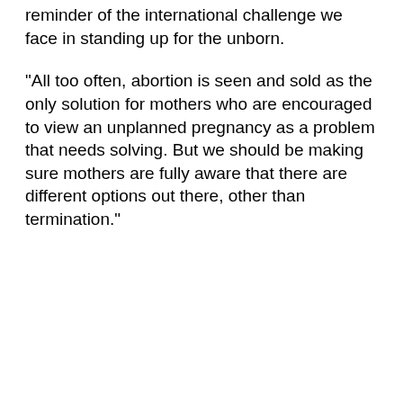reminder of the international challenge we face in standing up for the unborn.
"All too often, abortion is seen and sold as the only solution for mothers who are encouraged to view an unplanned pregnancy as a problem that needs solving. But we should be making sure mothers are fully aware that there are different options out there, other than termination."